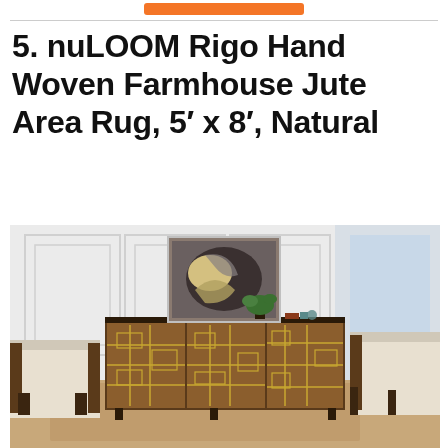5. nuLOOM Rigo Hand Woven Farmhouse Jute Area Rug, 5′ x 8′, Natural
[Figure (photo): Interior living room scene showing a mid-century modern wooden cabinet with geometric gold inlay panels, a framed abstract artwork, a potted plant, and cream upholstered chairs on either side, set against a white paneled wall near a window.]